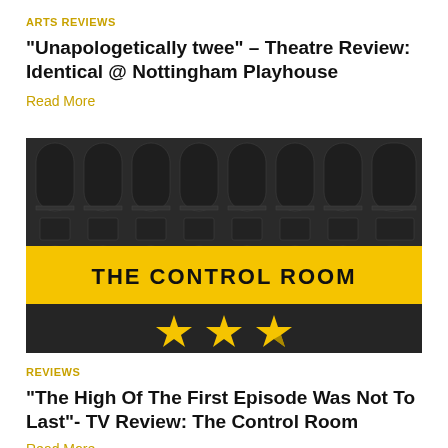ARTS REVIEWS
“Unapologetically twee” – Theatre Review: Identical @ Nottingham Playhouse
Read More
[Figure (illustration): Dark greyscale photo of a large brick building with arched windows. A yellow banner across the middle reads 'THE CONTROL ROOM' in bold black uppercase text. Below the banner are three gold stars (rating).]
REVIEWS
“The High Of The First Episode Was Not To Last”- TV Review: The Control Room
Read More